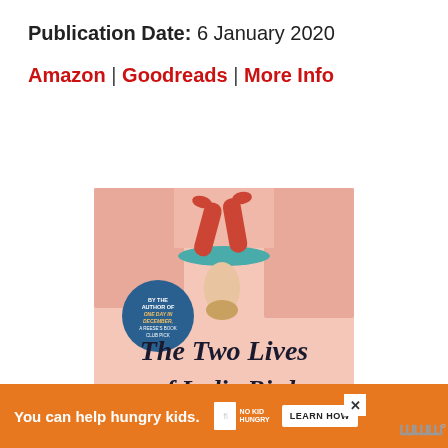Publication Date: 6 January 2020
Amazon | Goodreads | More Info
[Figure (photo): Book cover of 'The Two Lives of Lydia Bird' — illustrated cover showing a figure near a cocktail glass, pink and coral tones, with a badge reading 'By the author of One Day in December, a Reese's Book Club Pick']
You can help hungry kids. NO KID HUNGRY LEARN HOW